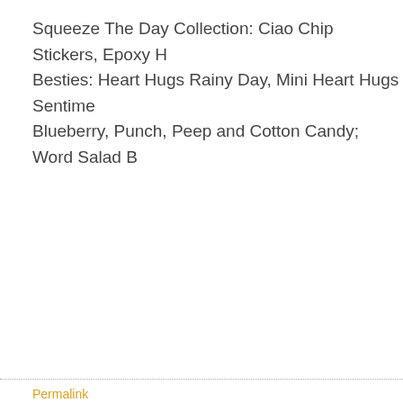Squeeze The Day Collection: Ciao Chip Stickers, Epoxy H Besties: Heart Hugs Rainy Day, Mini Heart Hugs Sentime Blueberry, Punch, Peep and Cotton Candy; Word Salad B
Permalink
SAVE TO DEL.ICIO.US
Comments
You can follow this conversation by subscribing to the comm
The comments to this entry are closed.